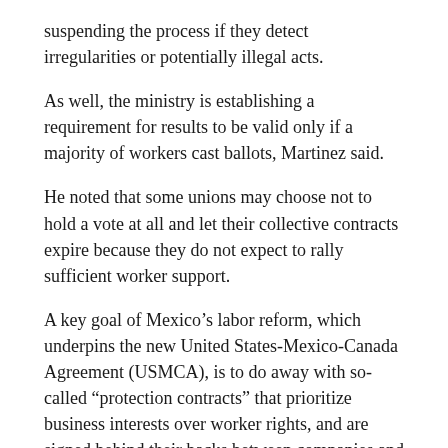suspending the process if they detect irregularities or potentially illegal acts.
As well, the ministry is establishing a requirement for results to be valid only if a majority of workers cast ballots, Martinez said.
He noted that some unions may choose not to hold a vote at all and let their collective contracts expire because they do not expect to rally sufficient worker support.
A key goal of Mexico’s labor reform, which underpins the new United States-Mexico-Canada Agreement (USMCA), is to do away with so-called “protection contracts” that prioritize business interests over worker rights, and are signed behind their backs between companies and unions.